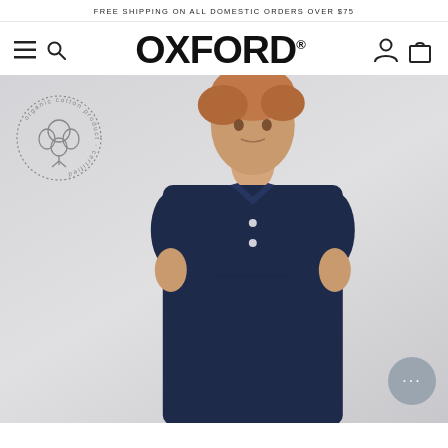FREE SHIPPING ON ALL DOMESTIC ORDERS OVER $75
OXFORD®
[Figure (photo): Man wearing a navy polo shirt with an organic cotton certified badge overlay in the top-left corner of the image. A chat support button appears in the bottom-right corner.]